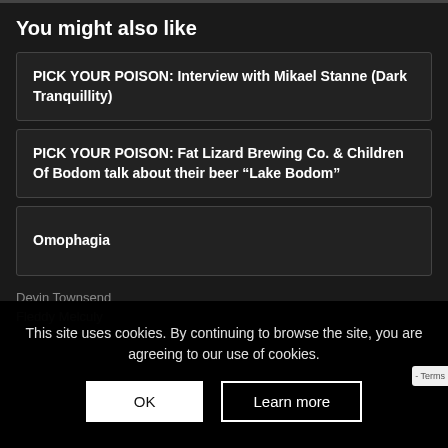You might also like
PICK YOUR POISON: Interview with Mikael Stanne (Dark Tranquillity)
PICK YOUR POISON: Fat Lizard Brewing Co. & Children Of Bodom talk about their beer “Lake Bodom”
Omophagia
Devin Townsend
Fleddy Melculy
This site uses cookies. By continuing to browse the site, you are agreeing to our use of cookies.
OK
Learn more
- Terms